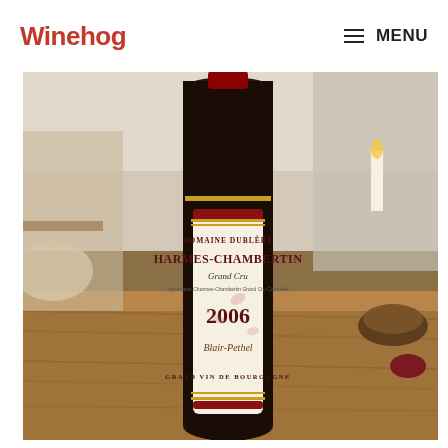Winehog  ☰ MENU
[Figure (photo): Close-up photograph of a wine bottle label for Domaine Dublère Charmes-Chambertin Grand Cru 2006, Grand Vin de Bourgogne, with a handwritten signature Blair-Pethel, set on a wooden table in a restaurant setting.]